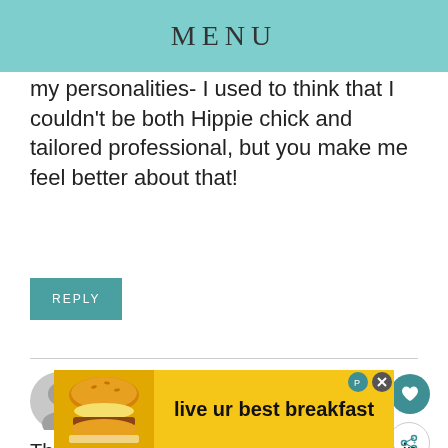MENU
my personalities- I used to think that I couldn't be both Hippie chick and tailored professional, but you make me feel better about that!
REPLY
CHEAPCHICINCHICAGO SAYS
September 28, 2012 at 11:08 am
This is great! I have multiple personalities in my c... it that... ays
[Figure (infographic): McDonald's advertisement banner: sandwich image on left, 'live ur best breakfast' text on yellow background]